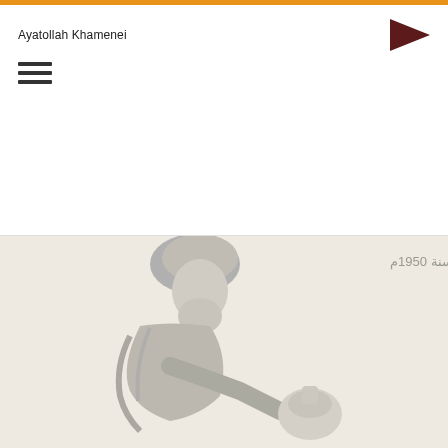Ayatollah Khamenei
[Figure (illustration): Grayscale historical photograph of a man in traditional clerical attire (turban, robe) bending forward, holding a round vessel. Arabic text caption reads: لاحد السقائين سنة 1950م]
لاحد السقائين سنة 1950م